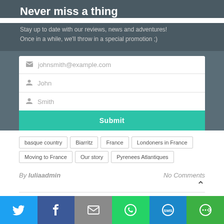Never miss a thing
Stay up to date with our reviews, news and adventures! Once in a while, we'll throw in a special promotion ;)
[Figure (screenshot): Newsletter signup form with email, first name, and last name fields and a teal submit button]
basque country
Biarritz
France
Londoners in France
Moving to France
Our story
Pyrenees Atlantiques
By Iuliaadmin
No Comments
[Figure (infographic): Social sharing bar with Twitter, Facebook, Email, WhatsApp, SMS, and More buttons]